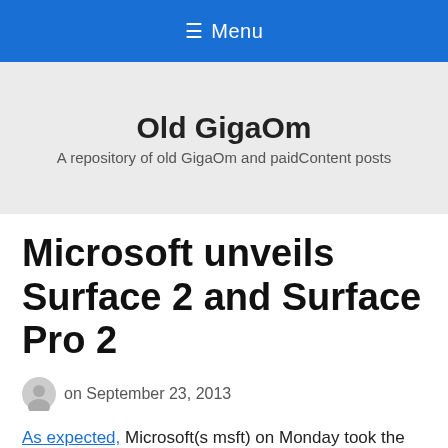≡ Menu
Old GigaOm
A repository of old GigaOm and paidContent posts
Microsoft unveils Surface 2 and Surface Pro 2
on September 23, 2013
As expected, Microsoft(s msft) on Monday took the wraps off of its Surface 2 and Surface Pro 2 tablets. Unlike last year's LA-based launch of the original